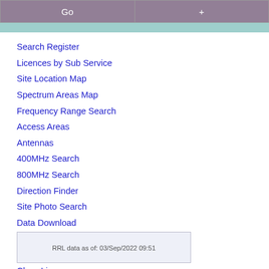[Figure (screenshot): Top navigation bar with two buttons: 'Go' on the left (mauve/purple background, white text) and '+' on the right (mauve/purple background, white text), followed by a teal horizontal bar below.]
Search Register
Licences by Sub Service
Site Location Map
Spectrum Areas Map
Frequency Range Search
Access Areas
Antennas
400MHz Search
800MHz Search
Direction Finder
Site Photo Search
Data Download
Offline RRL
RRL Archive
Class Licences
Help
RRL data as of: 03/Sep/2022 09:51